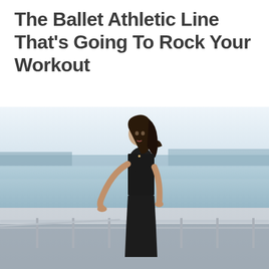The Ballet Athletic Line That's Going To Rock Your Workout
[Figure (photo): A woman with long dark hair wearing a black sleeveless dress stands on a high-rise rooftop or balcony with a railing, posing against a cityscape and waterfront backdrop with a hazy sky.]